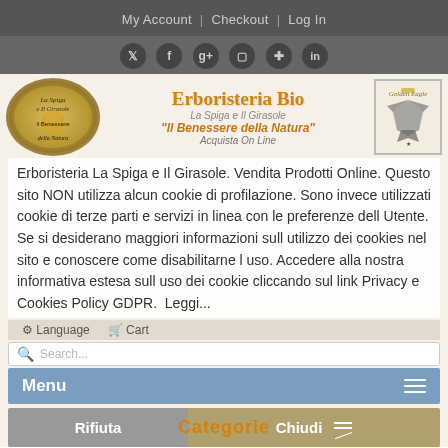My Account | Checkout | Log In
[Figure (screenshot): Social media icons row: Twitter, Facebook, Google+, Instagram, Pinterest, LinkedIn on dark bar]
[Figure (logo): Erboristeria La Spiga e Il Girasole oval logo with golden sunflower design]
Erboristeria Bio
La Spiga e Il Girasole
"Il Benessere della Natura"
Acquista On Line
[Figure (logo): Golden Eagle heraldic crest logo]
Erboristeria La Spiga e Il Girasole. Vendita Prodotti Online. Questo sito NON utilizza alcun cookie di profilazione. Sono invece utilizzati cookie di terze parti e servizi in linea con le preferenze dell Utente. Se si desiderano maggiori informazioni sull utilizzo dei cookies nel sito e conoscere come disabilitarne l uso. Accedere alla nostra informativa estesa sull uso dei cookie cliccando sul link Privacy e Cookies Policy GDPR.  Leggi...
Menu
Rifiuta
Chiudi
Categorie